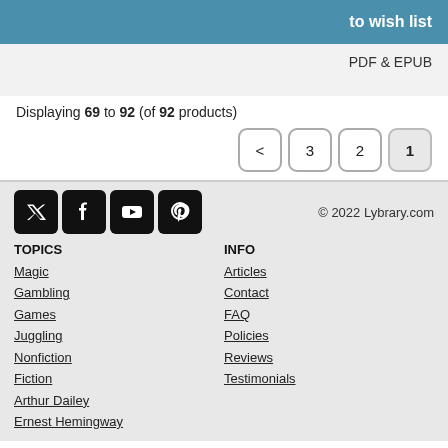to wish list
PDF & EPUB
Displaying 69 to 92 (of 92 products)
Pagination: < 3 2 1
© 2022 Lybrary.com
TOPICS
INFO
Magic
Gambling
Games
Juggling
Nonfiction
Fiction
Arthur Dailey
Ernest Hemingway
Articles
Contact
FAQ
Policies
Reviews
Testimonials